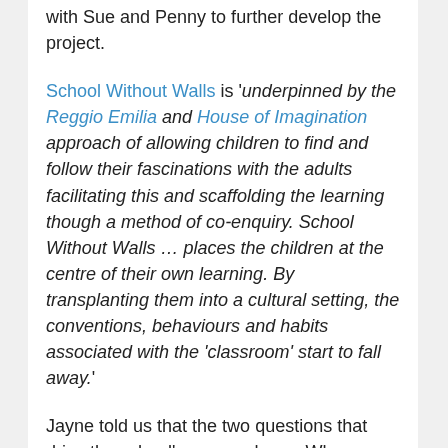with Sue and Penny to further develop the project.
School Without Walls is 'underpinned by the Reggio Emilia and House of Imagination approach of allowing children to find and follow their fascinations with the adults facilitating this and scaffolding the learning though a method of co-enquiry. School Without Walls … places the children at the centre of their own learning. By transplanting them into a cultural setting, the conventions, behaviours and habits associated with the 'classroom' start to fall away.'
Jayne told us that the two questions that drive the school's approach are: Where can creativity come from? and; What can we use in